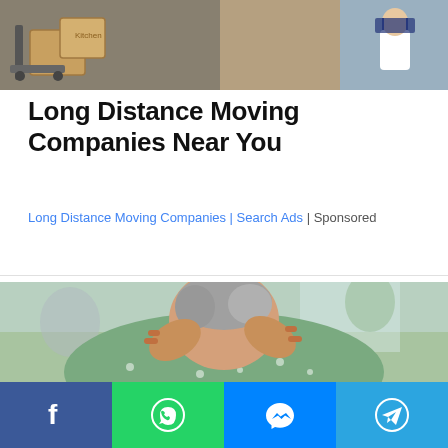[Figure (photo): Photo of movers with cardboard boxes and moving equipment]
Long Distance Moving Companies Near You
Long Distance Moving Companies | Search Ads | Sponsored
[Figure (photo): Elderly woman seen from behind scratching the back of her neck, wearing a green floral top]
Facebook, WhatsApp, Messenger, Telegram share buttons